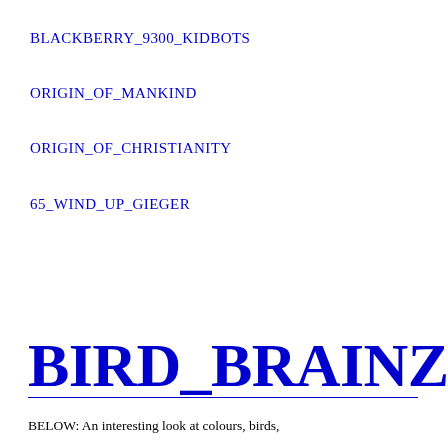BLACKBERRY_9300_KIDBOTS
ORIGIN_OF_MANKIND
ORIGIN_OF_CHRISTIANITY
65_WIND_UP_GIEGER
BIRD_BRAINZ
BELOW: An interesting look at colours, birds,